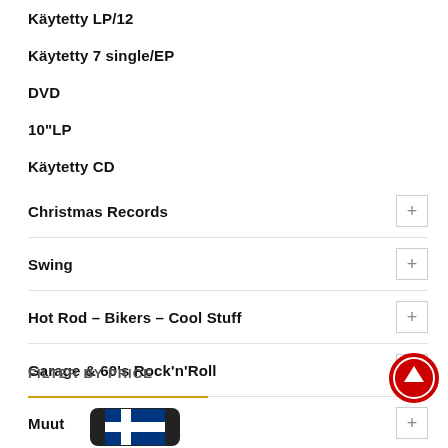Käytetty LP/12
Käytetty 7 single/EP
DVD
10"LP
Käytetty CD
Christmas Records
Swing
Hot Rod – Bikers – Cool Stuff
Garage & 60's Rock'n'Roll
Muut
Metal
FILTER BY PRICE